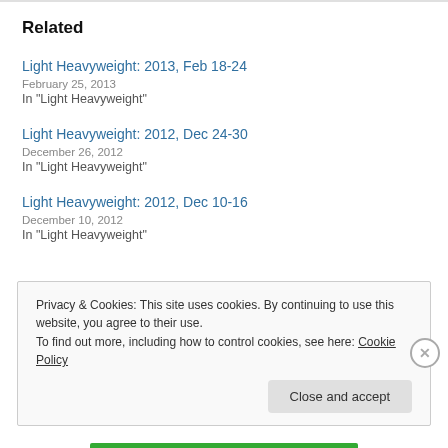Related
Light Heavyweight: 2013, Feb 18-24
February 25, 2013
In "Light Heavyweight"
Light Heavyweight: 2012, Dec 24-30
December 26, 2012
In "Light Heavyweight"
Light Heavyweight: 2012, Dec 10-16
December 10, 2012
In "Light Heavyweight"
Privacy & Cookies: This site uses cookies. By continuing to use this website, you agree to their use. To find out more, including how to control cookies, see here: Cookie Policy